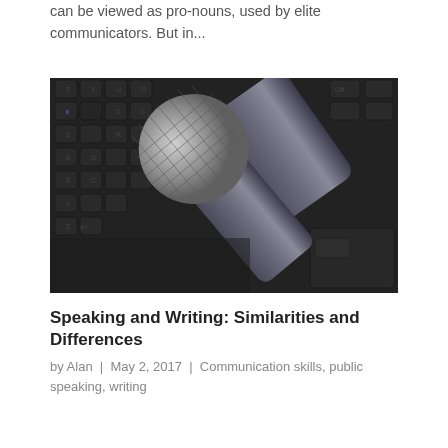can be viewed as pro-nouns, used by elite communicators. But in...
[Figure (photo): A silver and blue handheld microphone resting on a black laptop keyboard, photographed from above at an angle.]
Speaking and Writing: Similarities and Differences
by Alan  |  May 2, 2017  |  Communication skills, public speaking, writing